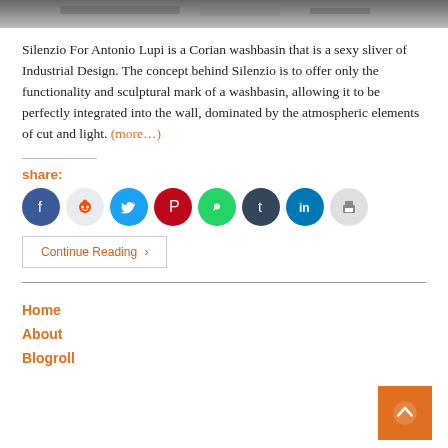[Figure (photo): Top portion of a photo showing a washbasin, partial view, dark tones]
Silenzio For Antonio Lupi is a Corian washbasin that is a sexy sliver of Industrial Design. The concept behind Silenzio is to offer only the functionality and sculptural mark of a washbasin, allowing it to be perfectly integrated into the wall, dominated by the atmospheric elements of cut and light. (more…)
share:
[Figure (infographic): Row of social share icon circles: Facebook, Reddit, Twitter, Pinterest, WhatsApp, Tumblr, LinkedIn, Print]
Continue Reading ›
Home
About
Blogroll